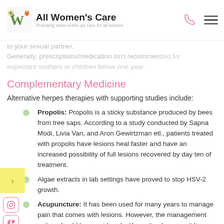All Women's Care — Providing state-of-the-art care for all women
to your sexual partner.
Generally, prescription medication isn't recommended for expectant mothers or children below one year.
Complementary Medicine
Alternative herpes therapies with supporting studies include:
Propolis: Propolis is a sticky substance produced by bees from tree saps. According to a study conducted by Sapna Modi, Livia Van, and Aron Gewirtzman etl., patients treated with propolis have lesions heal faster and have an increased possibility of full lesions recovered by day ten of treatment.
Algae extracts in lab settings have proved to stop HSV-2 growth.
Acupuncture: It has been used for many years to manage pain that comes with lesions. However, the management option should be considered with caution because it has been linked with HSV